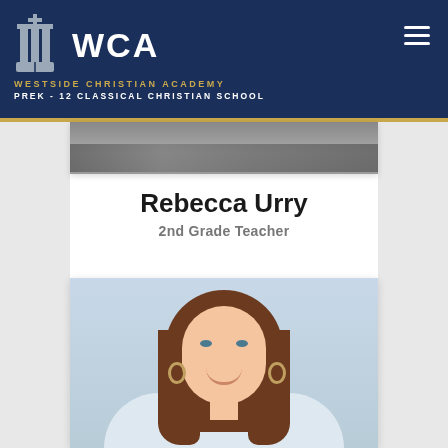WCA WESTSIDE CHRISTIAN ACADEMY PREK - 12 CLASSICAL CHRISTIAN SCHOOL
[Figure (photo): Partial image of a chalkboard or classroom scene visible at the top of the content area]
Rebecca Urry
2nd Grade Teacher
[Figure (photo): Portrait photograph of Rebecca Urry, a woman with long brown hair, smiling, with a light blue background]